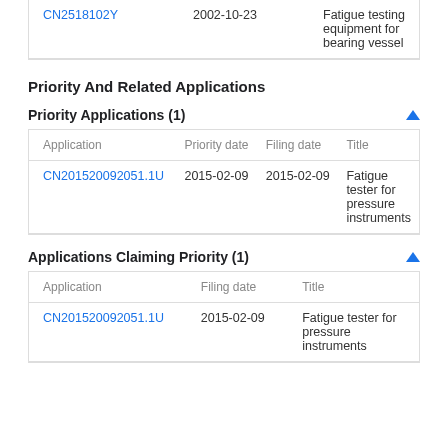|  |  |  |
| --- | --- | --- |
| CN2518102Y | 2002-10-23 | Fatigue testing equipment for bearing vessel |
Priority And Related Applications
Priority Applications (1)
| Application | Priority date | Filing date | Title |
| --- | --- | --- | --- |
| CN201520092051.1U | 2015-02-09 | 2015-02-09 | Fatigue tester for pressure instruments |
Applications Claiming Priority (1)
| Application | Filing date | Title |
| --- | --- | --- |
| CN201520092051.1U | 2015-02-09 | Fatigue tester for pressure instruments |